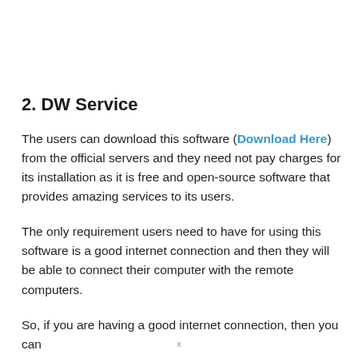2. DW Service
The users can download this software (Download Here) from the official servers and they need not pay charges for its installation as it is free and open-source software that provides amazing services to its users.
The only requirement users need to have for using this software is a good internet connection and then they will be able to connect their computer with the remote computers.
So, if you are having a good internet connection, then you can
x